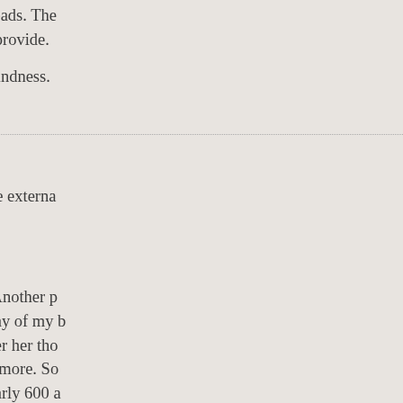shouldn't all be in our heads. The… an omnipotent being to provide.
Thanks again for your kindness.
Jason
The “out there” substrate externa… abounds before us.
Another person’s love. Another p… in my beloved. Shall I say of my b… my eyeball and my finger her tho… what we know. There is more. So… Fulfilled prophecies; nearly 600 a… Himself out for His beloved, as su… And more, so much more. Galaxi… out there. In a reverse-vector we… whatsoever on all matter and all e… every last data point, always, eve… forever screaming in our ears, tha… anywhere, ever, no energy anyw…